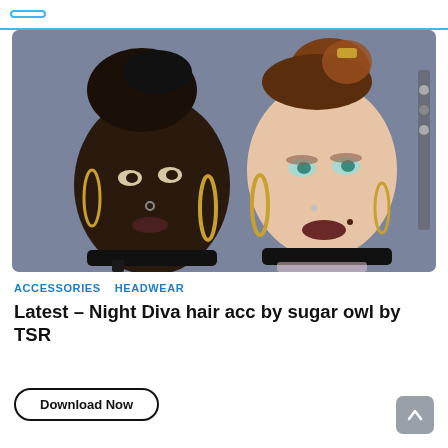[Figure (photo): Two Sims characters showing hairstyles and accessories — one with dark skin and black updo, one with light skin and auburn updo bun, both wearing gold hoop earrings and black choker necklaces]
ACCESSORIES  HEADWEAR
Latest – Night Diva hair acc by sugar owl by TSR
Download Now